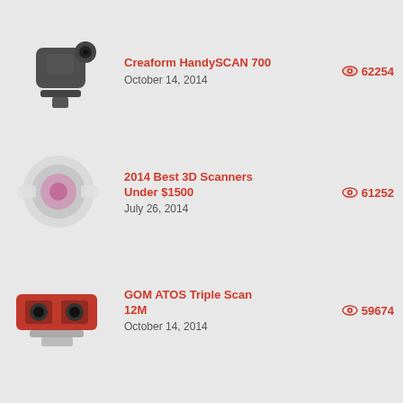Creaform HandySCAN 700 | 62254 | October 14, 2014
2014 Best 3D Scanners Under $1500 | 61252 | July 26, 2014
GOM ATOS Triple Scan 12M | 59674 | October 14, 2014
Meta Pro Space Glasses | 58893 | August 20, 2014
Leapfrog Xeed | 57021 | September 2, 2014
DreamQii PlexiDrone | 54965 | December 28, 2014